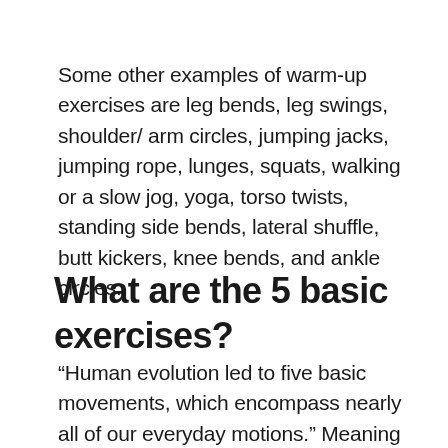Some other examples of warm-up exercises are leg bends, leg swings, shoulder/ arm circles, jumping jacks, jumping rope, lunges, squats, walking or a slow jog, yoga, torso twists, standing side bends, lateral shuffle, butt kickers, knee bends, and ankle circles.
What are the 5 basic exercises?
“Human evolution led to five basic movements, which encompass nearly all of our everyday motions.” Meaning your workout needs just five exercises, one from each of these categories: push (pressing away from you), pull (tugging toward you),